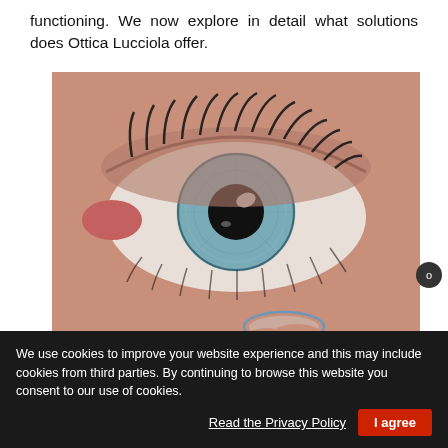functioning. We now explore in detail what solutions does Ottica Lucciola offer.
[Figure (photo): Close-up photograph of a human eye with blue-green iris and long eyelashes, with a contact lens being held near the lower eyelid by a finger]
We use cookies to improve your website experience and this may include cookies from third parties. By continuing to browse this website you consent to our use of cookies.
Read the Privacy Policy    I agree